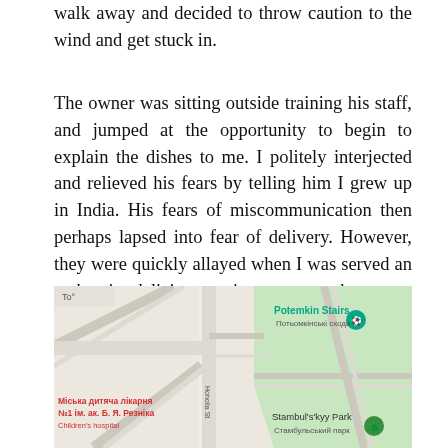walk away and decided to throw caution to the wind and get stuck in.
The owner was sitting outside training his staff, and jumped at the opportunity to begin to explain the dishes to me. I politely interjected and relieved his fears by telling him I grew up in India. His fears of miscommunication then perhaps lapsed into fear of delivery. However, they were quickly allayed when I was served an authentic, delicious tasting curry on the streets of Odesa.
Life never cease to amaze.
[Figure (map): Google Maps screenshot showing Potemkin Stairs (Потьомкінські сходи) and Stambul's'kyy Park (Стамбульський парк) in Odesa, Ukraine. A red label reads Міська дитяча лікарня №1 ім. ак. Б. Я. Резніка (Children's hospital). Street Hoholia St visible.]